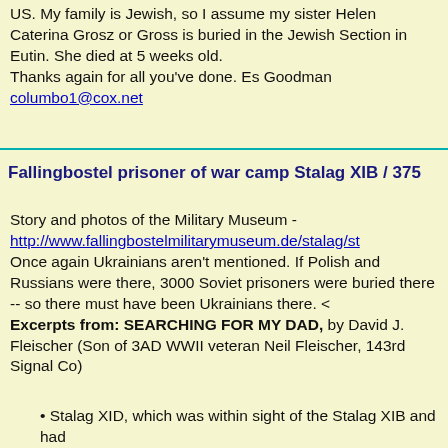...He was helpful in getting her Detroit. In the US. My family is Jewish, so I assume my sister Helen Caterina Grosz or Gross is buried in the Jewish Section in Eutin. She died at 5 weeks old.
Thanks again for all you've done. Es Goodman columbo1@cox.net
Fallingbostel prisoner of war camp Stalag XIB / 375
Story and photos of the Military Museum - http://www.fallingbostelmilitarymuseum.de/stalag/st Once again Ukrainians aren't mentioned. If Polish and Russians were there, 3000 Soviet prisoners were buried there -- so there must have been Ukrainians there. < Excerpts from: SEARCHING FOR MY DAD, by David J. Fleischer (Son of 3AD WWII veteran Neil Fleischer, 143rd Signal Co)
Stalag XID, which was within sight of the Stalag XIB and had